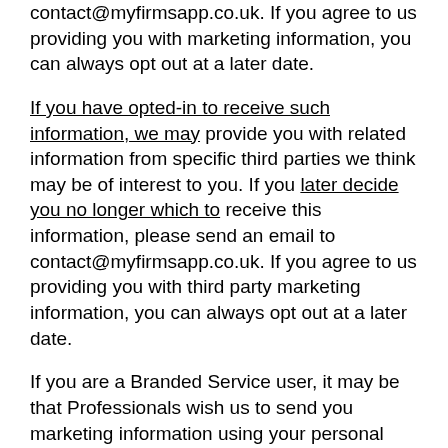contact@myfirmsapp.co.uk. If you agree to us providing you with marketing information, you can always opt out at a later date.
If you have opted-in to receive such information, we may provide you with related information from specific third parties we think may be of interest to you. If you later decide you no longer which to receive this information, please send an email to contact@myfirmsapp.co.uk. If you agree to us providing you with third party marketing information, you can always opt out at a later date.
If you are a Branded Service user, it may be that Professionals wish us to send you marketing information using your personal data you provide to them by means of the Branded Service; this is governed by the Professional's own privacy policy, which we require the Professional to maintain on